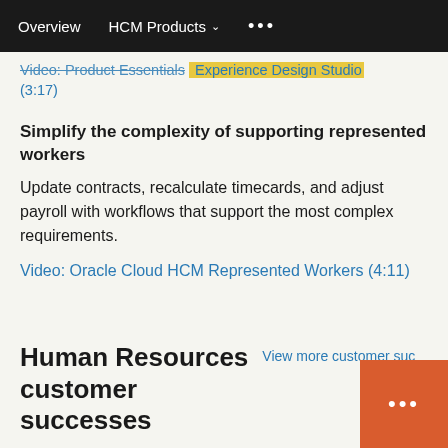Overview   HCM Products ∨   ...
Video: Product Essentials   Experience Design Studio (3:17)
Simplify the complexity of supporting represented workers
Update contracts, recalculate timecards, and adjust payroll with workflows that support the most complex requirements.
Video: Oracle Cloud HCM Represented Workers (4:11)
Human Resources customer successes
View more customer suc...